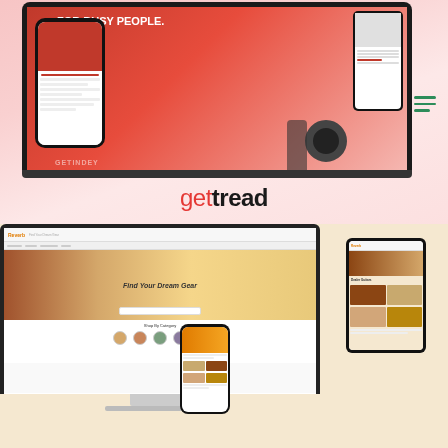[Figure (screenshot): Screenshot mockup of the gettread website shown on a laptop and mobile phone devices, with red background hero section reading 'FOR BUSY PEOPLE.' and tire images. The gettread logo appears below in red and black text.]
[Figure (screenshot): Screenshot mockup of the Reverb.com website shown on a desktop monitor, tablet, and mobile phone devices. The website shows 'Find Your Dream Gear' hero banner with music instruments, and a 'Shop By Category' section with instrument category icons.]